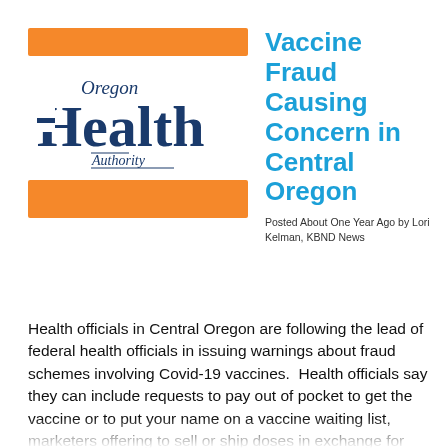[Figure (logo): Oregon Health Authority logo with orange decorative bars above and below]
Vaccine Fraud Causing Concern in Central Oregon
Posted About One Year Ago by Lori Kelman, KBND News
Health officials in Central Oregon are following the lead of federal health officials in issuing warnings about fraud schemes involving Covid-19 vaccines.  Health officials say they can include requests to pay out of pocket to get the vaccine or to put your name on a vaccine waiting list, marketers offering to sell or ship doses in exchange for payment of a deposit or fee, and telephone calls from someone claiming to be from a